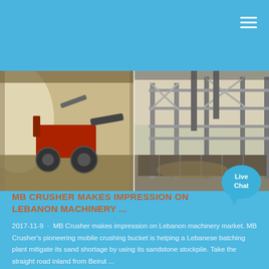[Figure (photo): Two side-by-side industrial/construction photos: left shows a red tractor/crusher machine in a dusty facility; right shows a large industrial facility with metal scaffolding, pipes, and aggregate bins outdoors.]
MB CRUSHER MAKES IMPRESSION ON LEBANON MACHINERY ...
2017-11-9 · MB Crusher makes impression on Lebanon machinery market. MB Crusher's pioneering mobile crushing bucket is helping a Lebanese batching plant mitigate its sand shortage by using its sandstone stockpile. Take the straight road inland from Beirut ...